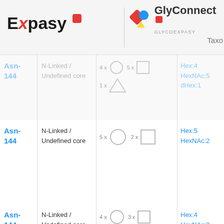Expasy | GlyConnect GLYCOEXPASY | Taxo
| Position | Type | Structure | Composition |
| --- | --- | --- | --- |
| Asn-144 | N-Linked / Undefined core | 4x circle, 5x square, 1x triangle | Hex:4 HexNAc:5 dHex:1 |
| Asn-144 | N-Linked / Undefined core | 5x circle, 2x square | Hex:5 HexNAc:2 |
| Asn-144 | N-Linked / Undefined core | 4x circle, 3x square, 1x diamond (purple) | Hex:4 HexNAc:3 NeuAc:1 |